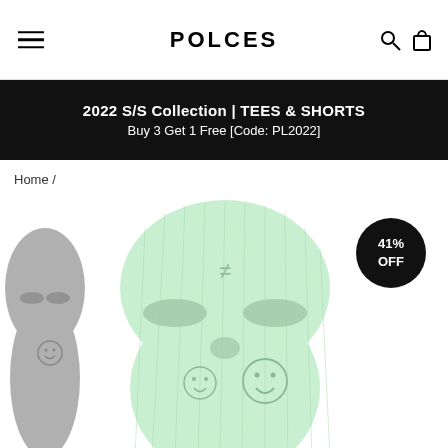POLCES
2022 S/S Collection | TEES & SHORTS
Buy 3 Get 1 Free [Code: PL2022]
Home /
[Figure (photo): E-commerce product page showing a mint green ski mask / balaclava with ≠ symbol and smiley face embroidery, 41% OFF badge, and a grey version partially visible on the left side.]